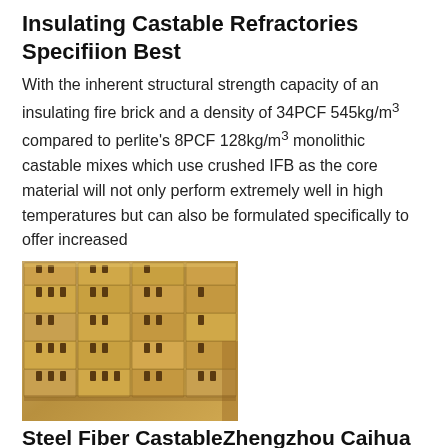Insulating Castable Refractories Specifiion Best
With the inherent structural strength capacity of an insulating fire brick and a density of 34PCF 545kg/m³ compared to perlite's 8PCF 128kg/m³ monolithic castable mixes which use crushed IFB as the core material will not only perform extremely well in high temperatures but can also be formulated specifically to offer increased
[Figure (photo): Stack of insulating fire bricks piled in rows, showing tan/beige colored rectangular bricks with slotted holes on top surfaces]
Steel Fiber CastableZhengzhou Caihua Kiln Masonry
The high strength castable refractory steel fiber reinforced wear-resistant castable is prepared by